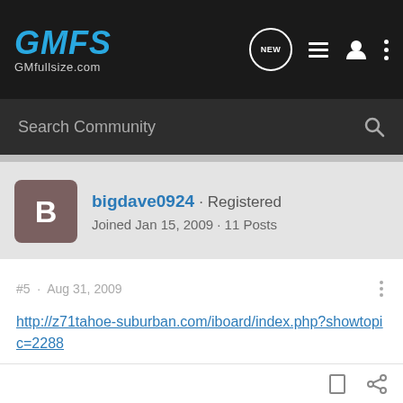GMFS GMfullsize.com
Search Community
bigdave0924 · Registered
Joined Jan 15, 2009 · 11 Posts
#5 · Aug 31, 2009
http://z71tahoe-suburban.com/iboard/index.php?showtopic=2288
Scroll down to post #9